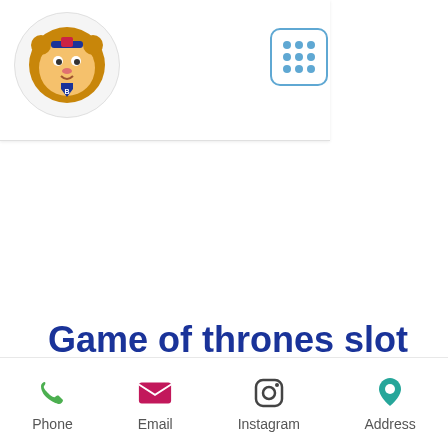[Figure (logo): Cartoon lion mascot logo in circular frame]
[Figure (other): 3x3 grid of dots icon in rounded square border, blue color]
Game of thrones slot machine review
[Figure (other): Bottom navigation bar with Phone, Email, Instagram, Address icons]